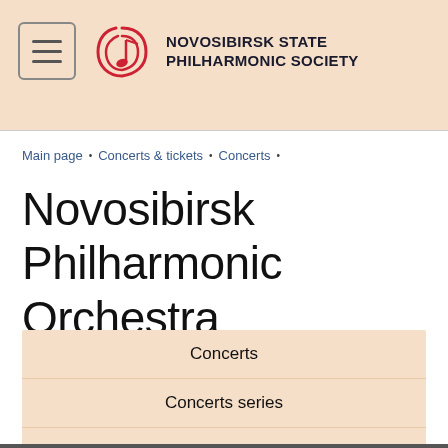NOVOSIBIRSK STATE PHILHARMONIC SOCIETY
Main page • Concerts & tickets • Concerts •
Novosibirsk Philharmonic Orchestra
Concerts
Concerts series
Tickets
Musical genres
Subscription